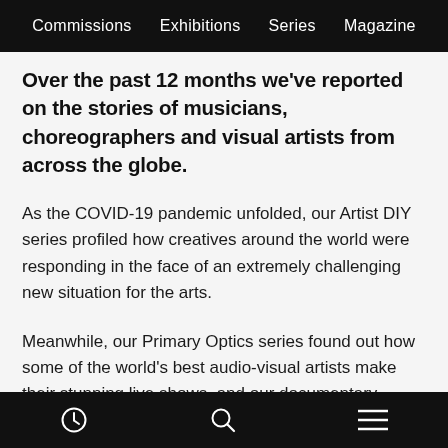Commissions   Exhibitions   Series   Magazine
Over the past 12 months we've reported on the stories of musicians, choreographers and visual artists from across the globe.
As the COVID-19 pandemic unfolded, our Artist DIY series profiled how creatives around the world were responding in the face of an extremely challenging new situation for the arts.
Meanwhile, our Primary Optics series found out how some of the world's best audio-visual artists make their stunning live shows, and our documentary Block9: Temporary Alternative Realities went behind the scenes
[clock icon] [search icon] [menu icon]